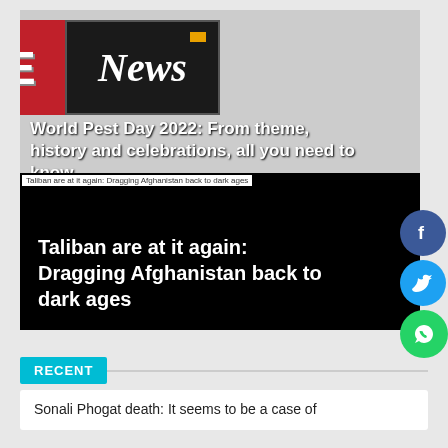[Figure (logo): ASE News logo — red left half with white bold text 'ASE', black right half with white italic text 'News' and an orange dot]
World Pest Day 2022: From theme, history and celebrations, all you need to know
[Figure (screenshot): Dark/black image with small label at top 'Taliban are at it again: Dragging Afghanistan back to dark ages' and large white bold headline overlaid at bottom]
Taliban are at it again: Dragging Afghanistan back to dark ages
RECENT
Sonali Phogat death: It seems to be a case of